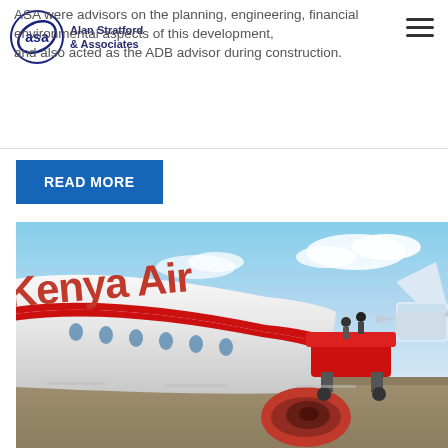ASA were advisors on the planning, engineering, financial environmental aspects of this development, and also acted as the ADB advisor during construction.
READ MORE
[Figure (photo): Close-up photograph of a Kenya Airways aircraft on the tarmac. The plane's red fuselage with 'Kenya Airways' text is prominent on the left. Ground crew equipment visible on the right side of the aircraft. Another aircraft visible in the distant background on the right. Blue sky with clouds above.]